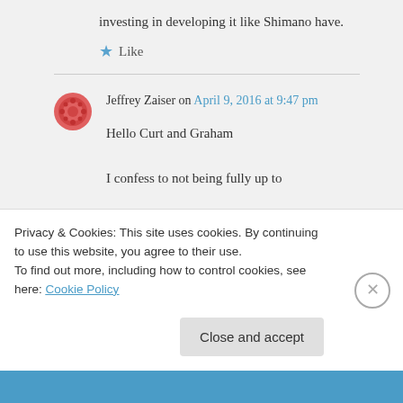investing in developing it like Shimano have.
Like
Jeffrey Zaiser on April 9, 2016 at 9:47 pm
Hello Curt and Graham
I confess to not being fully up to
Privacy & Cookies: This site uses cookies. By continuing to use this website, you agree to their use.
To find out more, including how to control cookies, see here: Cookie Policy
Close and accept